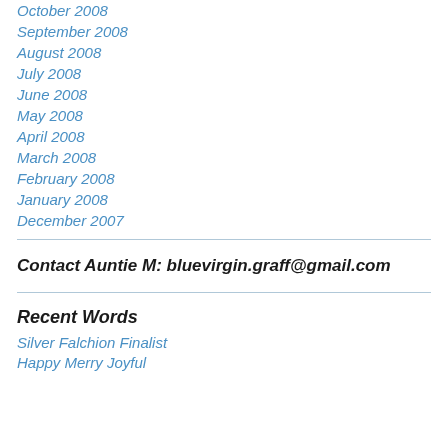October 2008
September 2008
August 2008
July 2008
June 2008
May 2008
April 2008
March 2008
February 2008
January 2008
December 2007
Contact Auntie M: bluevirgin.graff@gmail.com
Recent Words
Silver Falchion Finalist
Happy Merry Joyful